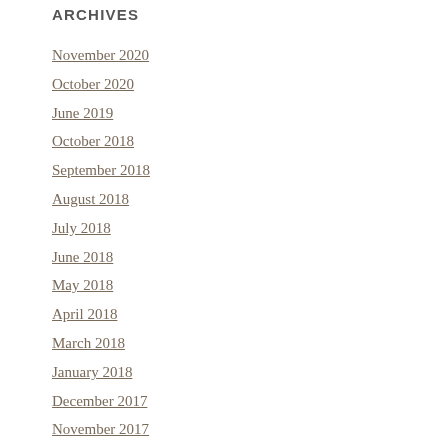ARCHIVES
November 2020
October 2020
June 2019
October 2018
September 2018
August 2018
July 2018
June 2018
May 2018
April 2018
March 2018
January 2018
December 2017
November 2017
October 2017
September 2017
August 2017